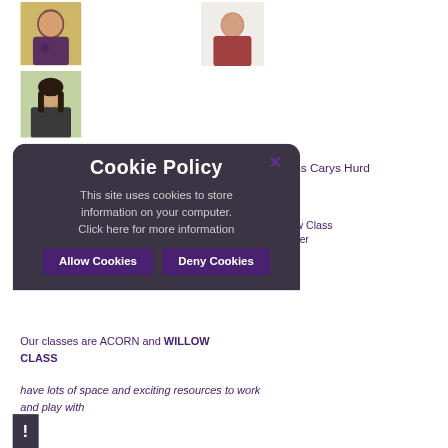[Figure (photo): Photo of Mrs Vicky Kent, a woman in a purple/maroon top, yellow/green background]
[Figure (photo): Photo of Miss Carys Hurd, a woman in a red top, light background]
[Figure (photo): Photo of Mrs Ferni Evans, a woman with dark hair in a black top]
Mrs Vicky Kent
Miss Carys Hurd
Mrs Ferni Evans
Class Teaching Assistant
Willow Class
Teaching Assistant Additional Early Years
Teacher
Our classes are ACORN and WILLOW CLASS
have lots of space and exciting resources to work and play with